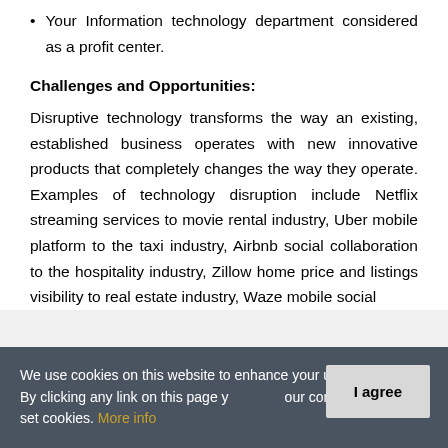Your Information technology department considered as a profit center.
Challenges and Opportunities:
Disruptive technology transforms the way an existing, established business operates with new innovative products that completely changes the way they operate. Examples of technology disruption include Netflix streaming services to movie rental industry, Uber mobile platform to the taxi industry, Airbnb social collaboration to the hospitality industry, Zillow home price and listings visibility to real estate industry, Waze mobile social
We use cookies on this website to enhance your user experience. By clicking any link on this page you give your consent for us to set cookies. More info